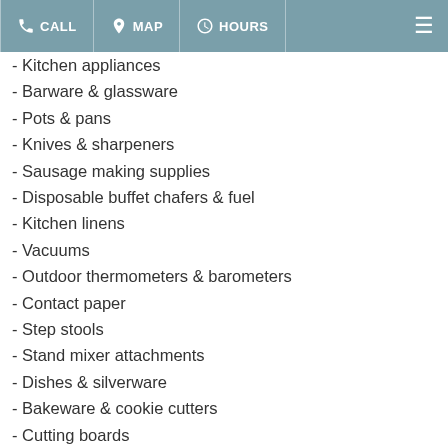CALL | MAP | HOURS
- Kitchen appliances
- Barware & glassware
- Pots & pans
- Knives & sharpeners
- Sausage making supplies
- Disposable buffet chafers & fuel
- Kitchen linens
- Vacuums
- Outdoor thermometers & barometers
- Contact paper
- Step stools
- Stand mixer attachments
- Dishes & silverware
- Bakeware & cookie cutters
- Cutting boards
- Canning supplies
- Replacement stove parts
- Laundry supplies & irons
- Humidifiers, dehumidifiers…
read more